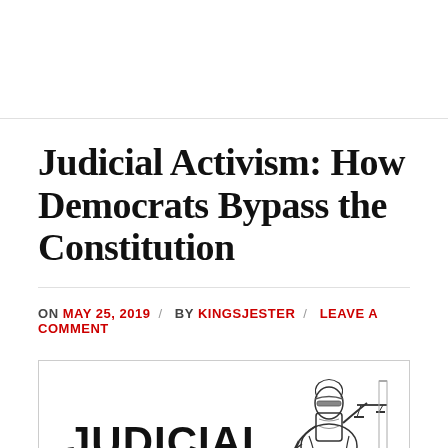Judicial Activism: How Democrats Bypass the Constitution
ON MAY 25, 2019 / BY KINGSJESTER / LEAVE A COMMENT
[Figure (illustration): Illustration showing the word JUDICIAL in bold black text alongside a drawing of Lady Justice holding scales, rendered in black and white sketch style.]